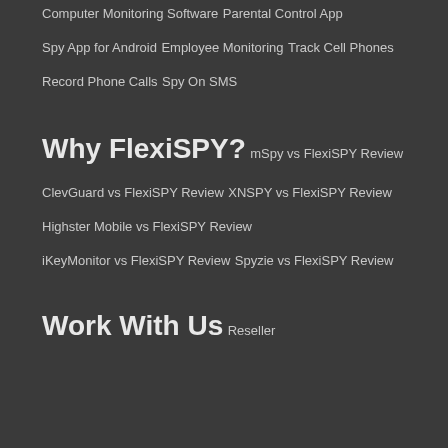Computer Monitoring Software
Parental Control App
Spy App for Android
Employee Monitoring
Track Cell Phones
Record Phone Calls
Spy On SMS
Why FlexiSPY?
mSpy vs FlexiSPY Review
ClevGuard vs FlexiSPY Review
XNSPY vs FlexiSPY Review
Highster Mobile vs FlexiSPY Review
iKeyMonitor vs FlexiSPY Review
Spyzie vs FlexiSPY Review
Work With Us
Reseller